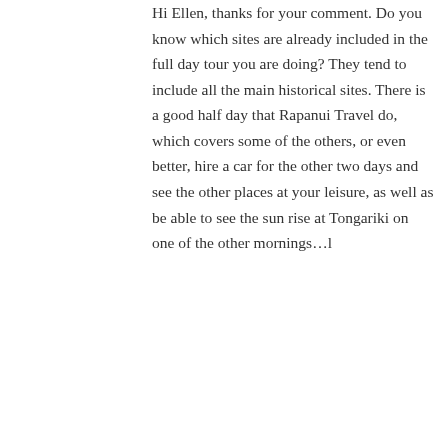Hi Ellen, thanks for your comment. Do you know which sites are already included in the full day tour you are doing? They tend to include all the main historical sites. There is a good half day that Rapanui Travel do, which covers some of the others, or even better, hire a car for the other two days and see the other places at your leisure, as well as be able to see the sun rise at Tongariki on one of the other mornings…l
★ Like
↩ Reply
ROBIN
July 4, 2017 / 1:38 am
Hi Chocolix, Really enjoyed your blog & the great tips. I plan to take a tour or two during my 4 day visit. At other times, are taxis readily available for going to restaurants and Museum? Thank you